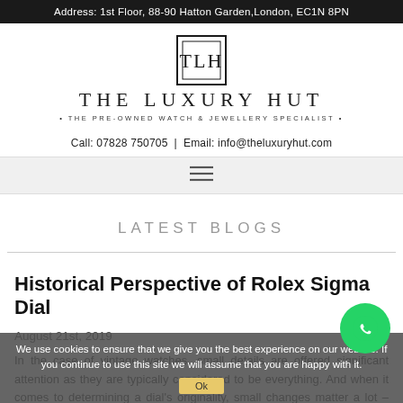Address: 1st Floor, 88-90 Hatton Garden, London, EC1N 8PN
[Figure (logo): The Luxury Hut logo with TLH monogram box, brand name, and tagline 'The Pre-Owned Watch & Jewellery Specialist']
Call: 07828 750705  |  Email: info@theluxuryhut.com
[Figure (other): Hamburger navigation menu icon (three horizontal lines)]
LATEST BLOGS
Historical Perspective of Rolex Sigma Dial
August 21st, 2019
In the case of vintage watches, small details are offered significant attention as they are typically considered to be everything. And when it comes to determining a dial's originality, small changes matter a lot – yes, a lot! Why?
We use cookies to ensure that we give you the best experience on our website. If you continue to use this site we will assume that you are happy with it.